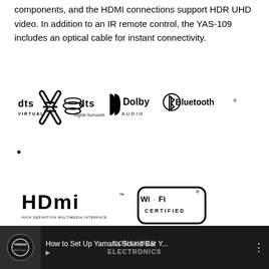components, and the HDMI connections support HDR UHD video. In addition to an IR remote control, the YAS-109 includes an optical cable for instant connectivity.
[Figure (logo): Row of certification logos: DTS Virtual:X, DTS Digital Surround, Dolby Audio, Bluetooth]
[Figure (logo): HDMI (High Definition Multimedia Interface) logo and Wi-Fi CERTIFIED logo]
[Figure (screenshot): Video thumbnail for 'How to Set Up Yamaha Sound Bar Y...' with Yamaha logo and Consumer Electronics text]